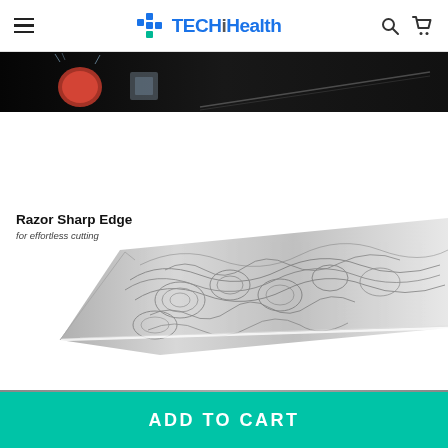TECHiHealth
[Figure (photo): Dark hero banner image showing a Damascus knife cutting a tomato with water splashes on black background]
[Figure (photo): Close-up of Damascus steel knife blade showing intricate swirling pattern, with text label 'Razor Sharp Edge / for effortless cutting']
[Figure (photo): Close-up of knife handle and blade transition showing smooth lines with dark wood handle, text label 'Smooth Lines / nice looking appearance']
Razor Sharp Edge
for effortless cutting
Smooth Lines
nice looking appearance
ADD TO CART